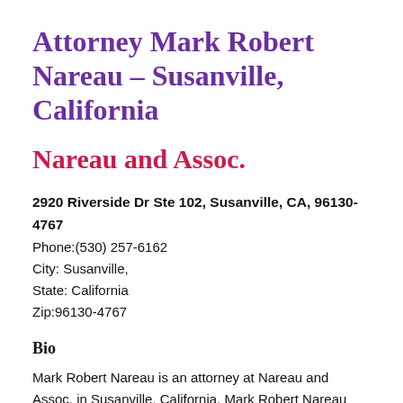Attorney Mark Robert Nareau – Susanville, California
Nareau and Assoc.
2920 Riverside Dr Ste 102, Susanville, CA, 96130-4767
Phone:(530) 257-6162
City: Susanville,
State: California
Zip:96130-4767
Bio
Mark Robert Nareau is an attorney at Nareau and Assoc. in Susanville, California. Mark Robert Nareau has 35 years of experience as a lawyer since graduating from Thomas